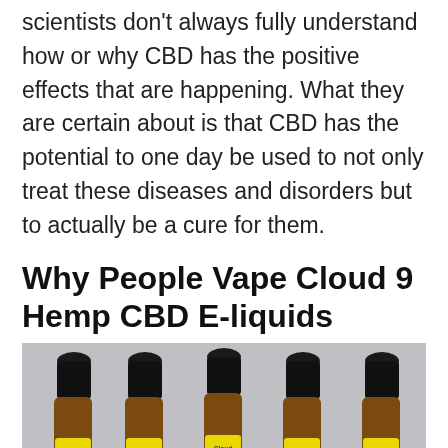scientists don't always fully understand how or why CBD has the positive effects that are happening. What they are certain about is that CBD has the potential to one day be used to not only treat these diseases and disorders but to actually be a cure for them.
Why People Vape Cloud 9 Hemp CBD E-liquids
[Figure (photo): Five amber dropper bottles of Cloud 9 Hemp CBD E-liquids with black dropper caps, arranged side by side against a light gray background. Each bottle has a yellow label with 'Cloud 9' branding.]